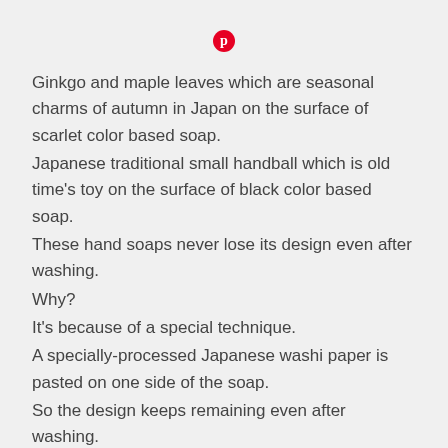[Figure (logo): Pinterest red circle logo icon]
Ginkgo and maple leaves which are seasonal charms of autumn in Japan on the surface of scarlet color based soap.
Japanese traditional small handball which is old time's toy on the surface of black color based soap.
These hand soaps never lose its design even after washing.
Why?
It's because of a special technique.
A specially-processed Japanese washi paper is pasted on one side of the soap.
So the design keeps remaining even after washing.